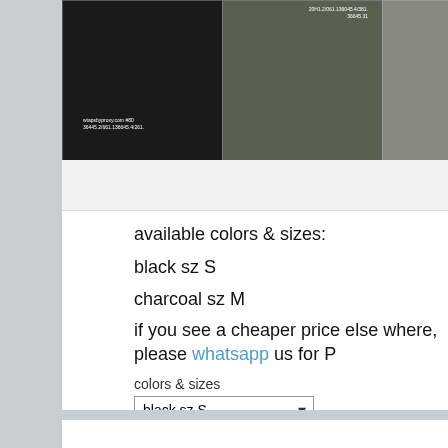[Figure (photo): Three folded t-shirts in black, charcoal/olive, and a third color, each with white text printed on them, displayed on a light grey background.]
available colors & sizes:
black sz S
charcoal sz M
if you see a cheaper price else where, please whatsapp us for P
colors & sizes
black sz S (dropdown)
Add to Cart
Tags: 27000y, ON SALE, pre-order, proxy, RESTOCK, wtaps, wtaps tee   Category: ON SALE, PRE...